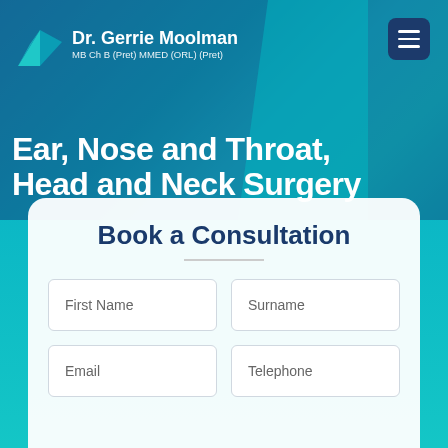[Figure (screenshot): Medical website hero section with blue/teal gradient background showing Dr. Gerrie Moolman logo and specialty tagline]
Dr. Gerrie Moolman
MB Ch B (Pret) MMED (ORL) (Pret)
Ear, Nose and Throat, Head and Neck Surgery
Book a Consultation
First Name
Surname
Email
Telephone